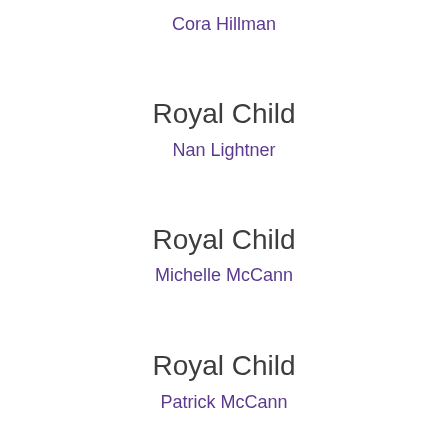Cora Hillman
Royal Child
Nan Lightner
Royal Child
Michelle McCann
Royal Child
Patrick McCann